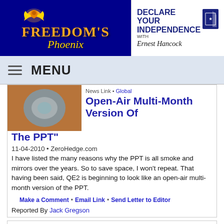[Figure (logo): Freedom's Phoenix logo with golden eagle/phoenix on dark blue background with orange and gold text]
[Figure (logo): Declare Your Independence with Ernest Hancock logo/banner in black and white]
MENU
[Figure (photo): Thumbnail image showing colorful circular pattern, partially visible]
Open-Air Multi-Month Version Of The PPT"
11-04-2010 • ZeroHedge.com
I have listed the many reasons why the PPT is all smoke and mirrors over the years. So to save space, I won't repeat. That having been said, QE2 is beginning to look like an open-air multi-month version of the PPT.
Make a Comment • Email Link • Send Letter to Editor
Reported By Jack Gregson
[Figure (photo): Thumbnail photo showing a person's face, partially visible]
News Link • Global
Federal Reserve Goldman: